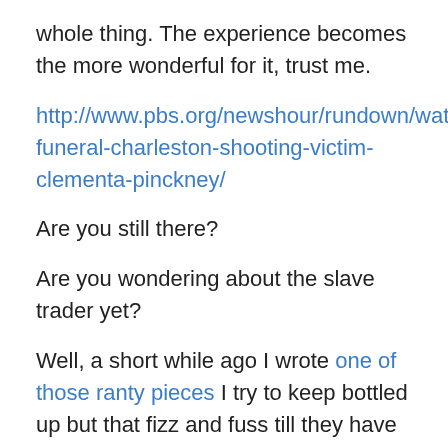whole thing. The experience becomes the more wonderful for it, trust me.
http://www.pbs.org/newshour/rundown/watch-funeral-charleston-shooting-victim-clementa-pinckney/
Are you still there?
Are you wondering about the slave trader yet?
Well, a short while ago I wrote one of those ranty pieces I try to keep bottled up but that fizz and fuss till they have to burst out.
About refugees.
In it I mentioned British singer songwriter Rebecca Ferguson's moving rendition of the Obama (forever, now) hymn in a church as I watched Sunday television, teary